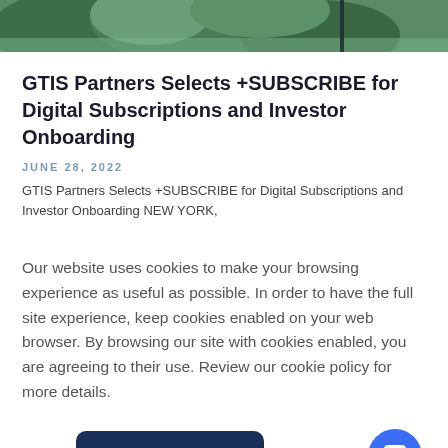[Figure (photo): Hero image showing a green hillside or mountainous landscape with trees, partially visible at top of page]
GTIS Partners Selects +SUBSCRIBE for Digital Subscriptions and Investor Onboarding
JUNE 28, 2022
GTIS Partners Selects +SUBSCRIBE for Digital Subscriptions and Investor Onboarding NEW YORK,
Our website uses cookies to make your browsing experience as useful as possible. In order to have the full site experience, keep cookies enabled on your web browser. By browsing our site with cookies enabled, you are agreeing to their use. Review our cookie policy for more details.